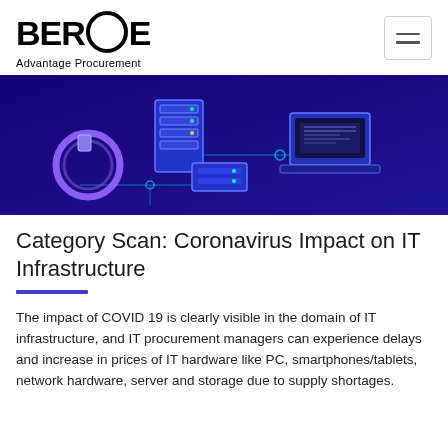BEROE Advantage Procurement
[Figure (illustration): Dark blue/indigo hero banner illustration of IT infrastructure: servers, laptop, network hardware, circuit board connections rendered in isometric style with glowing teal/purple highlights]
Category Scan: Coronavirus Impact on IT Infrastructure
The impact of COVID 19 is clearly visible in the domain of IT infrastructure, and IT procurement managers can experience delays and increase in prices of IT hardware like PC, smartphones/tablets, network hardware, server and storage due to supply shortages.